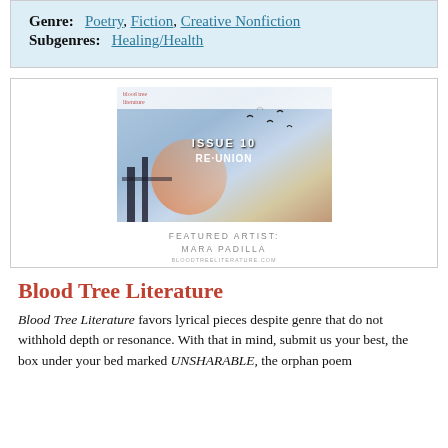Genre: Poetry, Fiction, Creative Nonfiction
Subgenres: Healing/Health
[Figure (illustration): Blood Tree Literature magazine cover showing Issue 10: Re-Union with colorful artistic background, birds silhouettes, and featured artist Mara Padilla]
Blood Tree Literature
Blood Tree Literature favors lyrical pieces despite genre that do not withhold depth or resonance. With that in mind, submit us your best, the box under your bed marked UNSHARABLE, the orphan poem